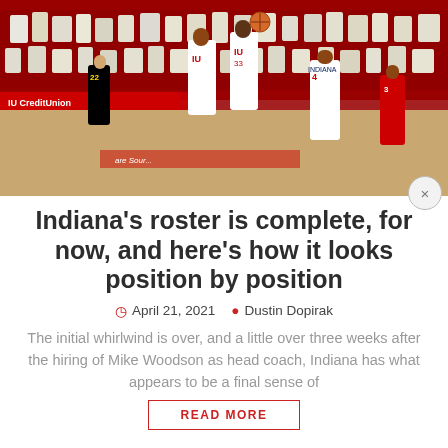[Figure (photo): Indiana University basketball players in white IU uniforms jumping during a game, with cardboard cutout fans in the stands at a red-themed arena]
Indiana's roster is complete, for now, and here's how it looks position by position
April 21, 2021  Dustin Dopirak
The initial whirlwind is over, and a little over three weeks after the hiring of Mike Woodson as head coach, Indiana has what appears to be a final sense of
READ MORE